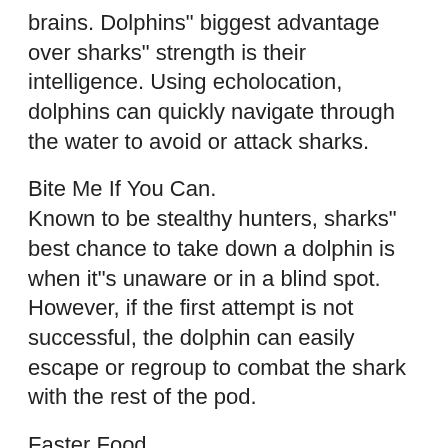brains. Dolphins" biggest advantage over sharks" strength is their intelligence. Using echolocation, dolphins can quickly navigate through the water to avoid or attack sharks.
Bite Me If You Can.
Known to be stealthy hunters, sharks" best chance to take down a dolphin is when it"s unaware or in a blind spot. However, if the first attempt is not successful, the dolphin can easily escape or regroup to combat the shark with the rest of the pod.
Faster Food.
To complement their superior intelligence dolphins are incredibly fast. They can swim faster than most shark species making them hard to catch and not worth the chase.
Whether you're team dolphin or team shark, both